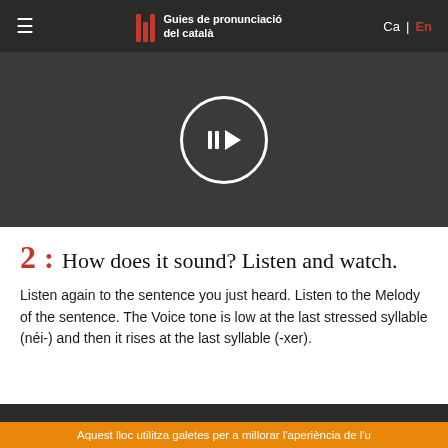Guies de pronunciació del català | Ca | En
[Figure (screenshot): Video player with dark background and a circular play button in the center]
2: How does it sound? Listen and watch.
Listen again to the sentence you just heard. Listen to the Melody of the sentence. The Voice tone is low at the last stressed syllable (néi-) and then it rises at the last syllable (-xer).
Aquest lloc utilitza galetes per a millorar l'aperiència de l'u